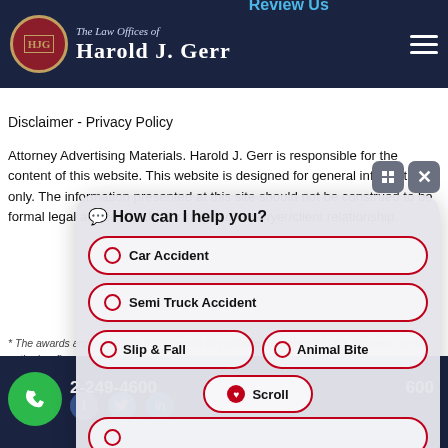The Law Offices of Harold J. Gerr | Review Us
Disclaimer - Privacy Policy
Attorney Advertising Materials. Harold J. Gerr is responsible for the content of this website. This website is designed for general information only. The information presented at this site should not be construed to be formal legal advice nor the formation of a lawyer/client relationship.
* The awards and accolades displayed on this website were issued to the attorneys, or the entire law firm by the respective providers of those honors. They are as follows, New Jersey Association for Justice, The National Crime Victim Bar Association, AAJ, Middlesex County Bar Association of American Trial p 100 2019, New Jersey ... Martindale-Hubbell Peer Rated for Highest ... Excellence 2018 Brain
2-249-4600
[Figure (screenshot): Chat widget overlay asking 'How can I help you?' with options: Car Accident, Semi Truck Accident, Slip & Fall, Animal Bite, Scroll, and partially visible Workers Compensation]